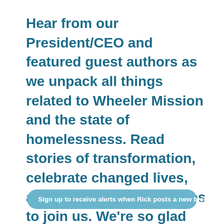Hear from our President/CEO and featured guest authors as we unpack all things related to Wheeler Mission and the state of homelessness. Read stories of transformation, celebrate changed lives, and discover opportunities to join us. We're so glad you're here!
Sign up to receive alerts when Rick posts a new blog!